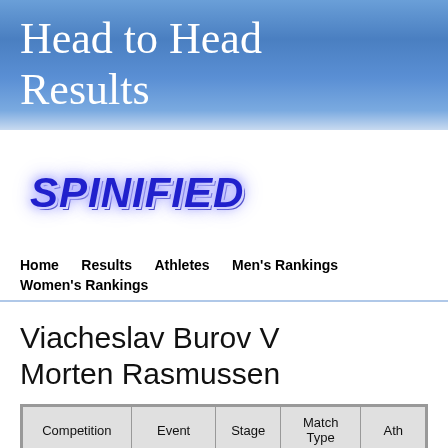Head to Head Results
[Figure (logo): SPINIFIED logo in bold italic blue text with white outline and purple glow]
Home    Results    Athletes    Men's Rankings    Women's Rankings
Viacheslav Burov V Morten Rasmussen
| Competition | Event | Stage | Match Type | Ath... |
| --- | --- | --- | --- | --- |